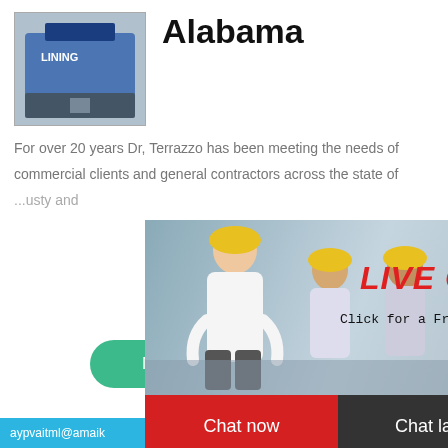[Figure (photo): Industrial machine (blue) with 'LINING' text visible]
Alabama
For over 20 years Dr, Terrazzo has been meeting the needs of commercial clients and general contractors across the state of ...usty and ... on, we use cutting grinding technology ... the concrete.
[Figure (screenshot): Live chat popup overlay with workers in hard hats, red 'LIVE CHAT' heading, 'Click for a Free Consultation' subtext, red 'Chat now' button and dark 'Chat later' button]
[Figure (photo): Right sidebar with industrial cone crusher machine image, 'hour online' text, 'Click me to chat>>' button, 'Enquiry' heading]
More